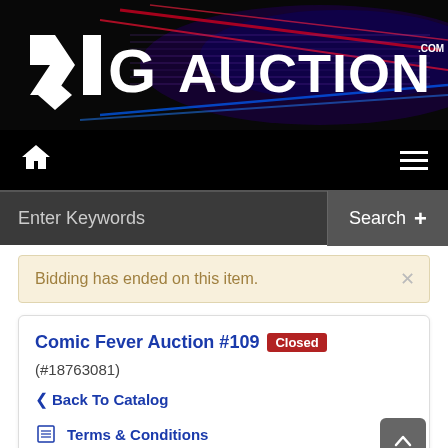[Figure (logo): DIG Auction .com logo on dark background with colorful neon/laser light effects in red, blue, and purple]
[Figure (screenshot): Navigation bar with home icon on left and hamburger menu on right, black background]
[Figure (screenshot): Search bar with 'Enter Keywords' placeholder and 'Search +' button on dark gray background]
Bidding has ended on this item.
Comic Fever Auction #109
Closed (#18763081)
< Back To Catalog
Terms & Conditions
Shipping Information